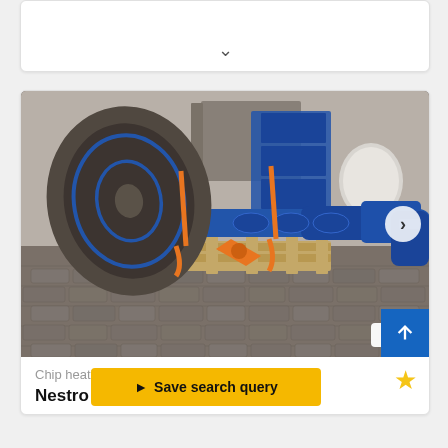[Figure (screenshot): Partially visible card with a down chevron arrow, collapsed listing]
[Figure (photo): Industrial chip heating equipment on a pallet — blue metal screw conveyor with funnel/disc attachment and orange straps, photographed in a warehouse/industrial setting]
Chip heating
Nestro L...
Save search query